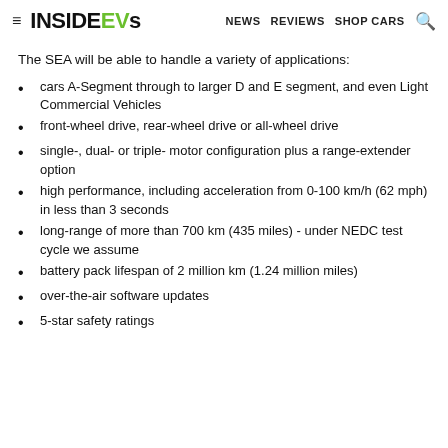≡ INSIDEEVS  NEWS  REVIEWS  SHOP CARS 🔍
The SEA will be able to handle a variety of applications:
cars A-Segment through to larger D and E segment, and even Light Commercial Vehicles
front-wheel drive, rear-wheel drive or all-wheel drive
single-, dual- or triple- motor configuration plus a range-extender option
high performance, including acceleration from 0-100 km/h (62 mph) in less than 3 seconds
long-range of more than 700 km (435 miles) - under NEDC test cycle we assume
battery pack lifespan of 2 million km (1.24 million miles)
over-the-air software updates
5-star safety ratings